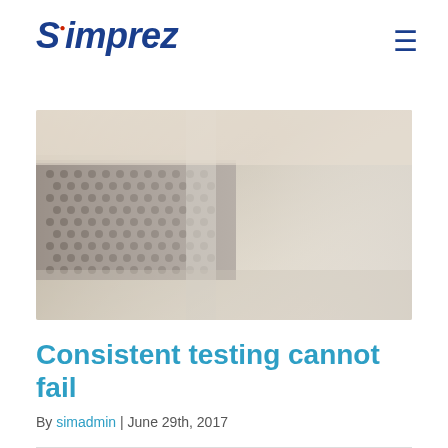Simprez
[Figure (photo): Close-up photo of a metallic mesh/grille surface with hexagonal or circular perforations, blurred background with warm tones]
Consistent testing cannot fail
By simadmin | June 29th, 2017